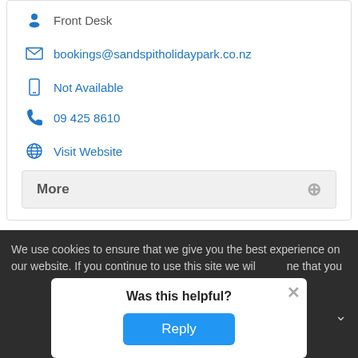Front Desk
bookings@sandspitholidaypark.co.nz
Not Available
09 425 8610
Visit Website
More
1  2  Next »    Showing 1-8 of 11 results
We use cookies to ensure that we give you the best experience on our website. If you continue to use this site we wil  ne that you
Was this helpful?
Reply